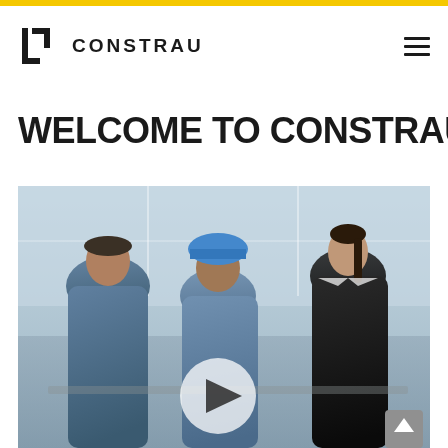CONSTRAU — navigation header with logo and hamburger menu
WELCOME TO CONSTRAU
[Figure (photo): Three people in a meeting or consultation setting, viewed from above/side. A man in blue on the left, a person in a blue hard hat in the center, and a woman in a dark jacket on the right, appearing to review documents. A semi-transparent play button overlay is visible in the center-bottom of the image.]